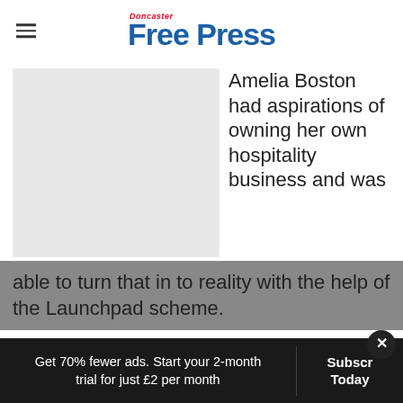Doncaster Free Press
[Figure (photo): Light grey placeholder image of a person, occupying left column of article layout]
Amelia Boston had aspirations of owning her own hospitality business and was able to turn that in to reality with the help of the Launchpad scheme.
Get 70% fewer ads. Start your 2-month trial for just £2 per month
Subscribe Today